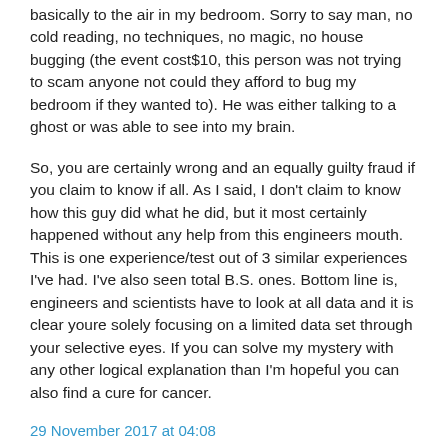basically to the air in my bedroom. Sorry to say man, no cold reading, no techniques, no magic, no house bugging (the event cost$10, this person was not trying to scam anyone not could they afford to bug my bedroom if they wanted to). He was either talking to a ghost or was able to see into my brain.
So, you are certainly wrong and an equally guilty fraud if you claim to know if all. As I said, I don't claim to know how this guy did what he did, but it most certainly happened without any help from this engineers mouth. This is one experience/test out of 3 similar experiences I've had. I've also seen total B.S. ones. Bottom line is, engineers and scientists have to look at all data and it is clear youre solely focusing on a limited data set through your selective eyes. If you can solve my mystery with any other logical explanation than I'm hopeful you can also find a cure for cancer.
29 November 2017 at 04:08
JD said